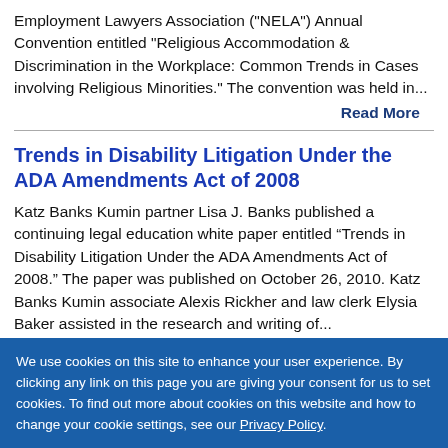Employment Lawyers Association ("NELA") Annual Convention entitled "Religious Accommodation & Discrimination in the Workplace: Common Trends in Cases involving Religious Minorities."  The convention was held in...
Read More
Trends in Disability Litigation Under the ADA Amendments Act of 2008
Katz Banks Kumin partner Lisa J. Banks published a continuing legal education white paper entitled “Trends in Disability Litigation Under the ADA Amendments Act of 2008.”  The paper was published on October 26, 2010.  Katz Banks Kumin associate Alexis Rickher and law clerk Elysia Baker assisted in the research and writing of...
We use cookies on this site to enhance your user experience. By clicking any link on this page you are giving your consent for us to set cookies. To find out more about cookies on this website and how to change your cookie settings, see our Privacy Policy.